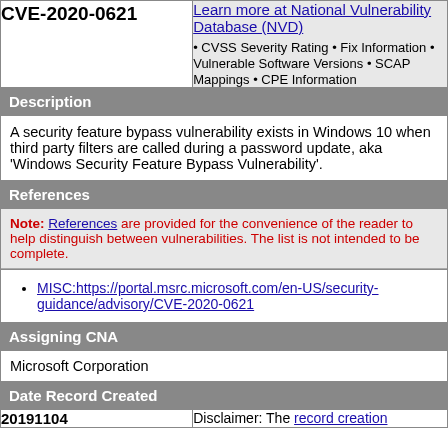| CVE-2020-0621 | Learn more at National Vulnerability Database (NVD) |
| --- | --- |
| CVE-2020-0621 | Learn more at National Vulnerability Database (NVD)
• CVSS Severity Rating • Fix Information • Vulnerable Software Versions • SCAP Mappings • CPE Information |
Description
A security feature bypass vulnerability exists in Windows 10 when third party filters are called during a password update, aka 'Windows Security Feature Bypass Vulnerability'.
References
Note: References are provided for the convenience of the reader to help distinguish between vulnerabilities. The list is not intended to be complete.
MISC:https://portal.msrc.microsoft.com/en-US/security-guidance/advisory/CVE-2020-0621
Assigning CNA
Microsoft Corporation
Date Record Created
| 20191104 | Disclaimer |
| --- | --- |
| 20191104 | Disclaimer: The record creation |